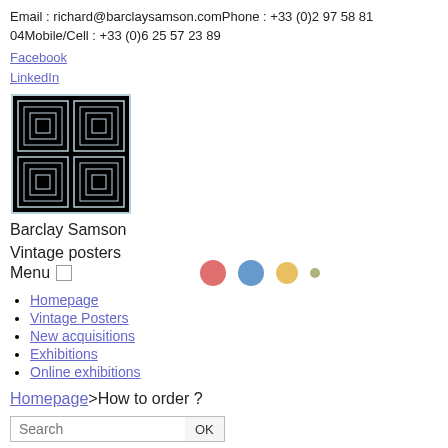Email : richard@barclaysamson.comPhone : +33 (0)2 97 58 81 04Mobile/Cell : +33 (0)6 25 57 23 89
Facebook
LinkedIn
[Figure (logo): Barclay Samson decorative square logo with nested square patterns in light blue/white]
Barclay Samson
Vintage posters
Menu □
[Figure (infographic): Three colored dots (pink, blue, yellow) and one small olive dot in a row]
Homepage
Vintage Posters
New acquisitions
Exhibitions
Online exhibitions
Homepage>How to order ?
Search  OK